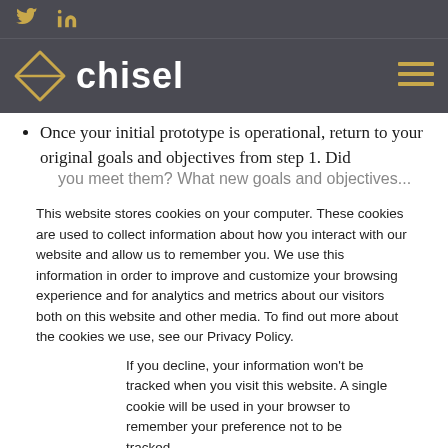Twitter and LinkedIn social icons
[Figure (logo): Chisel logo with geometric diamond icon and text 'chisel' in white, on dark background, with hamburger menu icon]
Once your initial prototype is operational, return to your original goals and objectives from step 1. Did you meet them? What new goals and objectives...
This website stores cookies on your computer. These cookies are used to collect information about how you interact with our website and allow us to remember you. We use this information in order to improve and customize your browsing experience and for analytics and metrics about our visitors both on this website and other media. To find out more about the cookies we use, see our Privacy Policy.
If you decline, your information won't be tracked when you visit this website. A single cookie will be used in your browser to remember your preference not to be tracked.
Accept | Decline